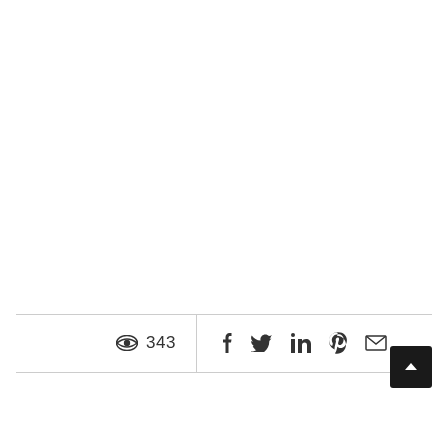343 views, share icons: Facebook, Twitter, LinkedIn, Pinterest, Email, back-to-top button